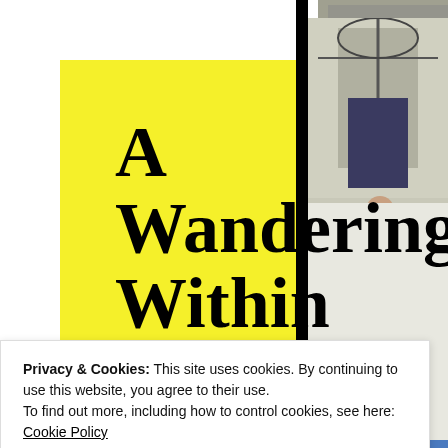[Figure (illustration): Yellow book cover for 'A Wandering Within – A mystical journey in the footsteps of Ibn Battutah' with navigation links: About, My Route, Wakhan Corridor, Musings]
A Wandering Within
A mystical journey in the footsteps of Ibn Battutah
About
My Route
Wakhan Corridor
Musings
[Figure (photo): Photo of a person near a doorway, right side of page]
[Figure (photo): Blue area/photo bottom right]
Privacy & Cookies: This site uses cookies. By continuing to use this website, you agree to their use.
To find out more, including how to control cookies, see here: Cookie Policy
Close and accept